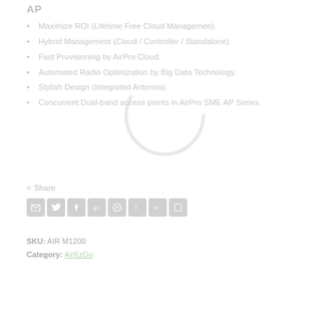AP
Maximize ROI (Lifetime Free Cloud Managemen).
Hybrid Management (Cloud / Controller / Standalone).
Fast Provisioning by AirPro Cloud.
Automated Radio Optimization by Big Data Technology.
Stylish Design (Integrated Antenna).
Concurrent Dual-band access points in AirPro SME AP Series.
< Share
SKU: AIR M1200
Category: AirEzGo